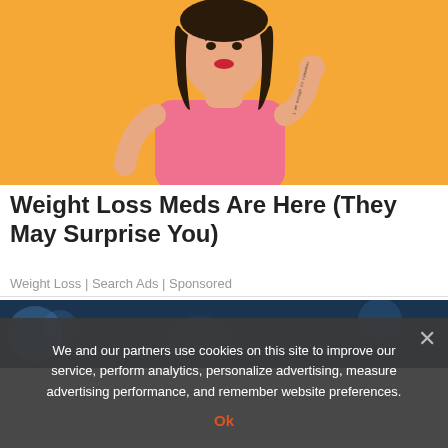[Figure (photo): Woman with dark hair wearing a pink top, posing in front of an orange/yellow background, holding her hand near her face. She has a tattoo on her forearm.]
Weight Loss Meds Are Here (They May Surprise You)
Weight Loss | Search Ads | Sponsored
[Figure (photo): Partial view of a second image with dark blue bokeh background.]
We and our partners use cookies on this site to improve our service, perform analytics, personalize advertising, measure advertising performance, and remember website preferences.
Ok